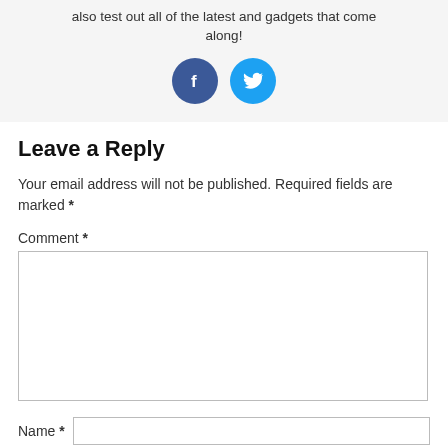also test out all of the latest and gadgets that come along!
[Figure (illustration): Two social media icons: Facebook (dark blue circle with white 'f') and Twitter (light blue circle with white bird logo)]
Leave a Reply
Your email address will not be published. Required fields are marked *
Comment *
Name *